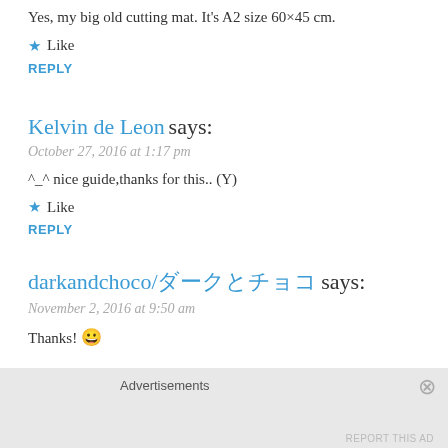Yes, my big old cutting mat. It's A2 size 60×45 cm.
★ Like
REPLY
Kelvin de Leon says:
October 27, 2016 at 1:17 pm
^_^ nice guide,thanks for this.. (Y)
★ Like
REPLY
darkandchoco/ダークとチョコ says:
November 2, 2016 at 9:50 am
Thanks! 😀
Advertisements